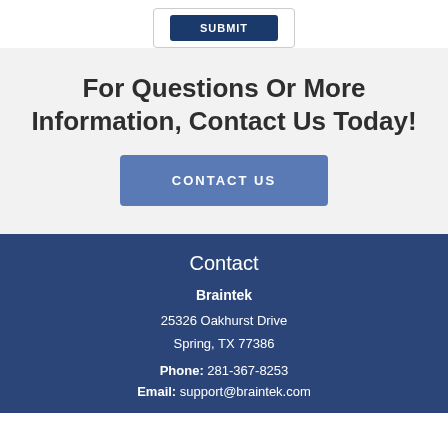[Figure (other): SUBMIT button inside a bordered form box]
For Questions Or More Information, Contact Us Today!
[Figure (other): CONTACT US button (blue rounded rectangle)]
Contact
Braintek
25326 Oakhurst Drive
Spring, TX 77386
Phone: 281-367-8253
Email: support@braintek.com